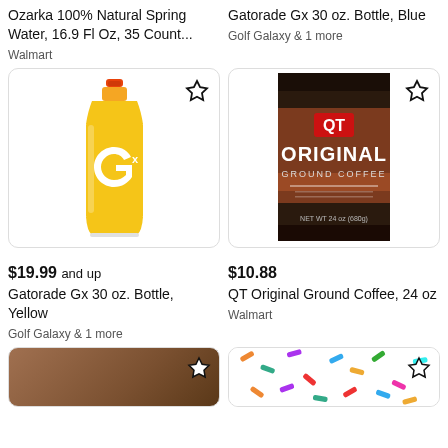Ozarka 100% Natural Spring Water, 16.9 Fl Oz, 35 Count...
Walmart
Gatorade Gx 30 oz. Bottle, Blue
Golf Galaxy & 1 more
[Figure (photo): Yellow Gatorade Gx 30 oz bottle with orange cap]
[Figure (photo): QT Original Ground Coffee 24 oz brown bag]
$19.99 and up
Gatorade Gx 30 oz. Bottle, Yellow
Golf Galaxy & 1 more
$10.88
QT Original Ground Coffee, 24 oz
Walmart
[Figure (photo): Partial product image bottom left - brown bag]
[Figure (photo): Partial product image bottom right - white with colorful pattern]